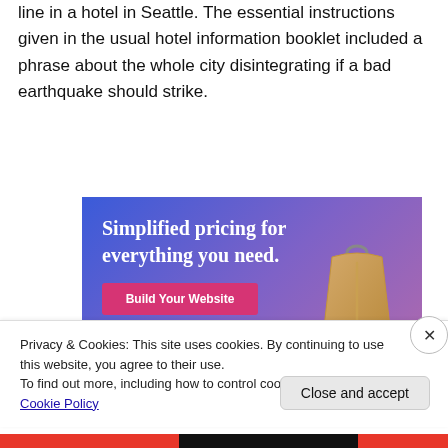line in a hotel in Seattle. The essential instructions given in the usual hotel information booklet included a phrase about the whole city disintegrating if a bad earthquake should strike.
[Figure (screenshot): Advertisement banner with gradient blue-purple background showing text 'Simplified pricing for everything you need.' with a pink 'Build Your Website' button and a 3D price tag image on the right.]
Privacy & Cookies: This site uses cookies. By continuing to use this website, you agree to their use.
To find out more, including how to control cookies, see here: Cookie Policy
Close and accept